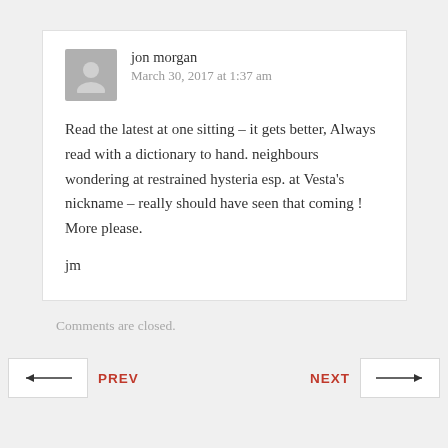jon morgan
March 30, 2017 at 1:37 am
Read the latest at one sitting – it gets better, Always read with a dictionary to hand. neighbours wondering at restrained hysteria esp. at Vesta’s nickname – really should have seen that coming ! More please.
jm
Comments are closed.
PREV
NEXT